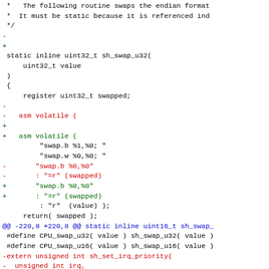diff/patch code showing changes to sh_swap_u32 function and related definitions
[Figure (screenshot): Source code diff showing modifications to a C function sh_swap_u32 with red lines (removals) and green lines (additions), including asm volatile inline assembly, CPU_swap macros, and sh_set_irq_priority extern declarations]